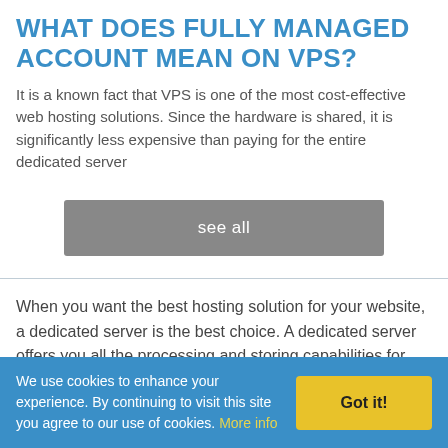WHAT DOES FULLY MANAGED ACCOUNT MEAN ON VPS?
It is a known fact that VPS is one of the most cost-effective web hosting solutions. Since the hardware is shared, it is significantly less expensive than paying for the entire dedicated server
see all
When you want the best hosting solution for your website, a dedicated server is the best choice. A dedicated server offers you all the processing and storing capabilities for your site only. Also, you are
We use cookies to enhance your experience. By continuing to visit this site you agree to our use of cookies. More info